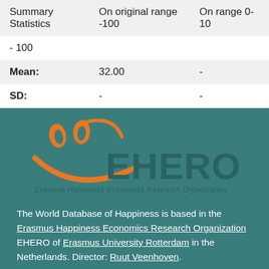| Summary Statistics | On original range -100 | On range 0-10 |
| --- | --- | --- |
| Mean: | 32.00 | - |
| SD: | - | - |
[Figure (logo): EHERO - Erasmus Happiness Economics Research Organisation logo with orange smiley face and teal EHERO text]
The World Database of Happiness is based in the Erasmus Happiness Economics Research Organization EHERO of Erasmus University Rotterdam in the Netherlands. Director: Ruut Veenhoven.